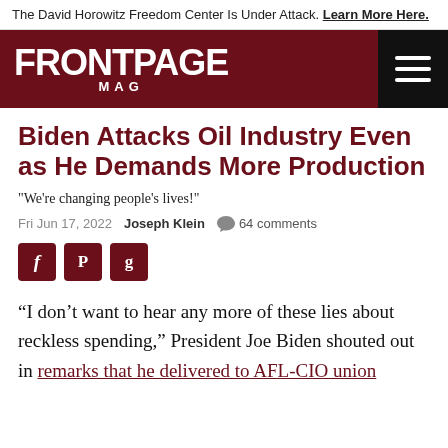The David Horowitz Freedom Center Is Under Attack. Learn More Here.
[Figure (logo): FrontPage Mag logo — white text on dark red background with hamburger menu icon on right]
Biden Attacks Oil Industry Even as He Demands More Production
"We're changing people's lives!"
Fri Jun 17, 2022  Joseph Klein  64 comments
[Figure (other): Social sharing icons: Facebook (f), Parler (P), Gettr (g)]
“I don’t want to hear any more of these lies about reckless spending,” President Joe Biden shouted out in remarks that he delivered to AFL-CIO union